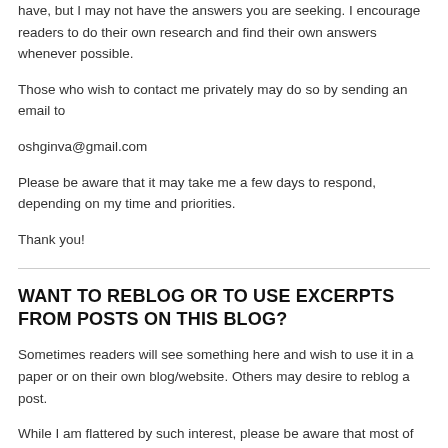have, but I may not have the answers you are seeking. I encourage readers to do their own research and find their own answers whenever possible.
Those who wish to contact me privately may do so by sending an email to
oshginva@gmail.com
Please be aware that it may take me a few days to respond, depending on my time and priorities.
Thank you!
WANT TO REBLOG OR TO USE EXCERPTS FROM POSTS ON THIS BLOG?
Sometimes readers will see something here and wish to use it in a paper or on their own blog/website. Others may desire to reblog a post.
While I am flattered by such interest, please be aware that most of the